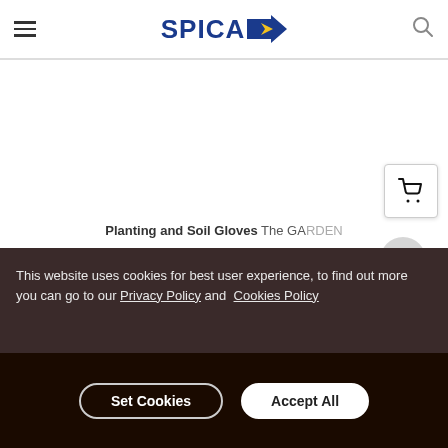SPICA [logo with arrow icon] [hamburger menu] [search icon]
Planting and Soil Gloves The GARDEN
This website uses cookies for best user experience, to find out more you can go to our Privacy Policy and Cookies Policy
Set Cookies   Accept All